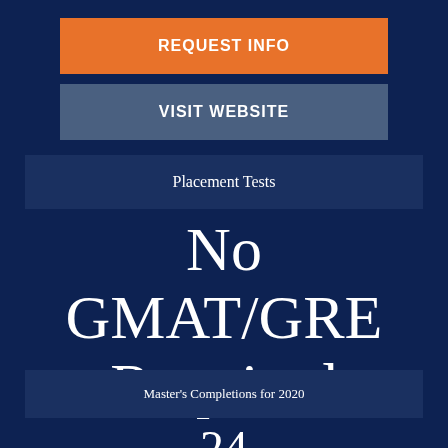REQUEST INFO
VISIT WEBSITE
Placement Tests
No GMAT/GRE Required
Master's Completions for 2020
24